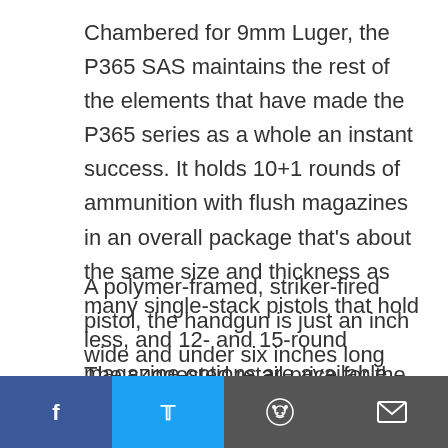Chambered for 9mm Luger, the P365 SAS maintains the rest of the elements that have made the P365 series as a whole an instant success. It holds 10+1 rounds of ammunition with flush magazines in an overall package that's about the same size and thickness as many single-stack pistols that hold less, and 12- and 15-round magazine options are available.
A polymer-framed, striker-fired pistol, the handgun is just an inch wide and under six inches long with its 3.1-inch barrel. Unloaded the P365 SAS weighs a hair less than 18 ounces.
The suggested retail price for the P365 is just under [share bar obscures] nline pricing is in the mid- [share bar obscures] ot of interesting and even
[Figure (other): Social media share bar with Facebook, Twitter, Reddit, and Email buttons at the bottom of the page]